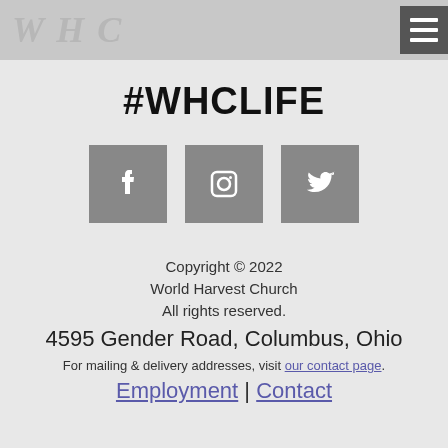World Harvest Church logo and navigation menu
#WHCLIFE
[Figure (logo): Three social media icon buttons: Facebook (f), Instagram (camera), Twitter (bird), each on a grey square background]
Copyright © 2022
World Harvest Church
All rights reserved.
4595 Gender Road, Columbus, Ohio
For mailing & delivery addresses, visit our contact page.
Employment | Contact